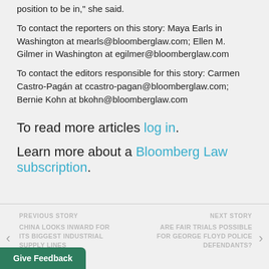position to be in," she said.
To contact the reporters on this story: Maya Earls in Washington at mearls@bloomberglaw.com; Ellen M. Gilmer in Washington at egilmer@bloomberglaw.com
To contact the editors responsible for this story: Carmen Castro-Pagán at ccastro-pagan@bloomberglaw.com; Bernie Kohn at bkohn@bloomberglaw.com
To read more articles log in.
Learn more about a Bloomberg Law subscription.
PREVIOUS STORY | CHINA LOOKS INWARD FOR ITS BIGGEST INDUSTRIAL SUPPLY LINES || NEXT STORY | ARE FAIR TRIALS POSSIBLE FOR GEORGE FLOYD POLICE DEFENDANTS?